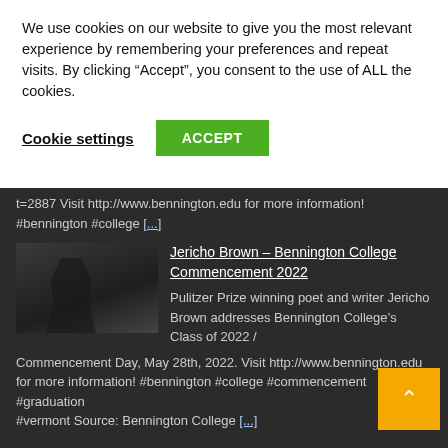We use cookies on our website to give you the most relevant experience by remembering your preferences and repeat visits. By clicking “Accept”, you consent to the use of ALL the cookies.
Cookie settings
ACCEPT
t=2887 Visit http://www.bennington.edu for more information! #bennington #college [...]
[Figure (photo): Thumbnail image of Jericho Brown at Bennington College Commencement 2022, showing a figure at a podium]
Jericho Brown – Bennington College Commencement 2022
Pulitzer Prize winning poet and writer Jericho Brown addresses Bennington College’s Class of 2022 / Commencement Day, May 28th, 2022. Visit http://www.bennington.edu for more information! #bennington #college #commencement #graduation #vermont Source: Bennington College [...]